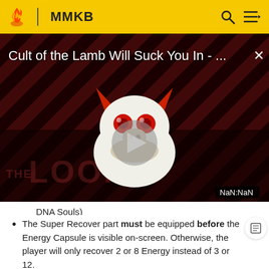MMKB
[Figure (screenshot): Video thumbnail for 'Cult of the Lamb Will Suck You In - ...' on MMKB wiki. Shows a dark red/black diagonal striped background with an animated monster character (white with red eyes, horns), a large grey play button triangle in the center, 'THE LOOP' text watermark, and a close (X) button. Time display shows NaN:NaN.]
DNA Souls)
The Super Recover part must be equipped before the Energy Capsule is visible on-screen. Otherwise, the player will only recover 2 or 8 Energy instead of 3 or 12.